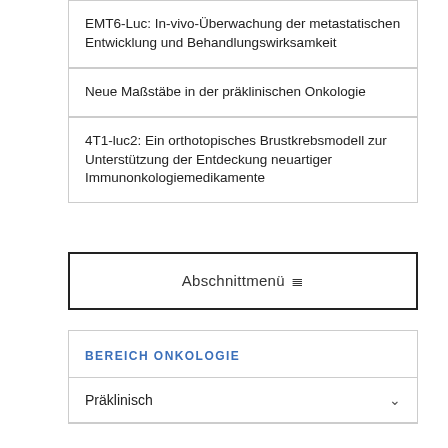EMT6-Luc: In-vivo-Überwachung der metastatischen Entwicklung und Behandlungswirksamkeit
Neue Maßstäbe in der präklinischen Onkologie
4T1-luc2: Ein orthotopisches Brustkrebsmodell zur Unterstützung der Entdeckung neuartiger Immunonkologiemedikamente
Abschnittmenü ≡
BEREICH ONKOLOGIE
Präklinisch